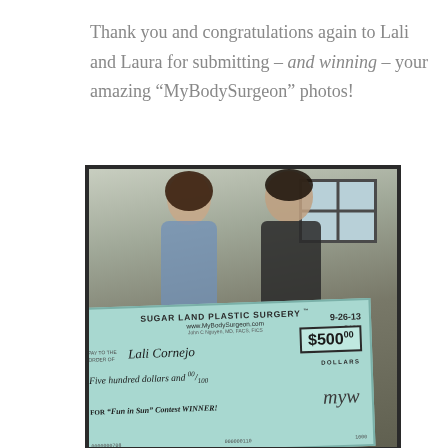Thank you and congratulations again to Lali and Laura for submitting – and winning – your amazing "MyBodySurgeon" photos!
[Figure (photo): Photo of two people (a woman and a man) holding a large novelty check from Sugar Land Plastic Surgery / www.MyBodySurgeon.com, made out to Lali Cornejo for $500.00, dated 9-26-13, for 'Fun in Sun' Contest WINNER!]